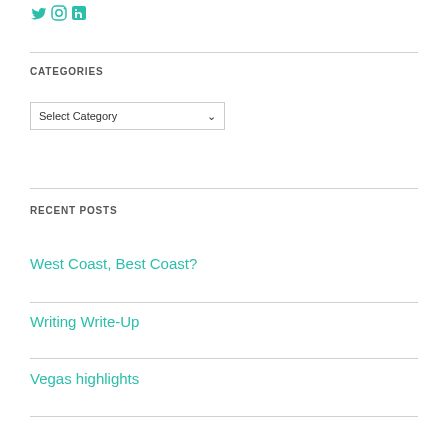[Figure (logo): Social media icons: Twitter, Instagram, LinkedIn in teal/cyan color]
CATEGORIES
[Figure (screenshot): Select Category dropdown input box]
RECENT POSTS
West Coast, Best Coast?
Writing Write-Up
Vegas highlights